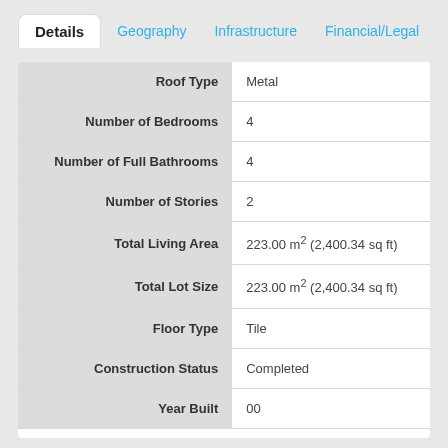Details | Geography | Infrastructure | Financial/Legal
| Field | Value |
| --- | --- |
| Roof Type | Metal |
| Number of Bedrooms | 4 |
| Number of Full Bathrooms | 4 |
| Number of Stories | 2 |
| Total Living Area | 223.00 m² (2,400.34 sq ft) |
| Total Lot Size | 223.00 m² (2,400.34 sq ft) |
| Floor Type | Tile |
| Construction Status | Completed |
| Year Built | 00 |